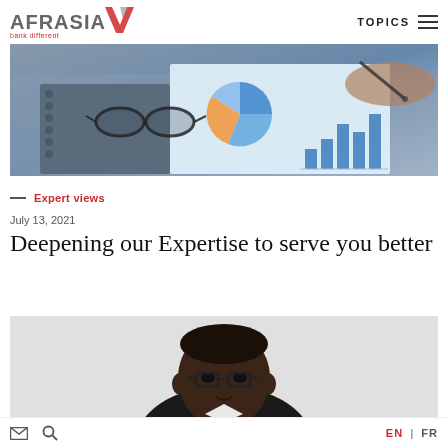AFRASIA bank different | TOPICS
[Figure (photo): Business desk scene showing financial charts, pie charts, bar graphs on printed paper, glasses, notebook, calculator, and hands of two people with pens reviewing documents]
— Expert views
July 13, 2021
Deepening our Expertise to serve you better
[Figure (photo): Portrait photo of a Black man wearing glasses, shown from the shoulders up against a light grey background]
Email icon | Search icon | EN | FR